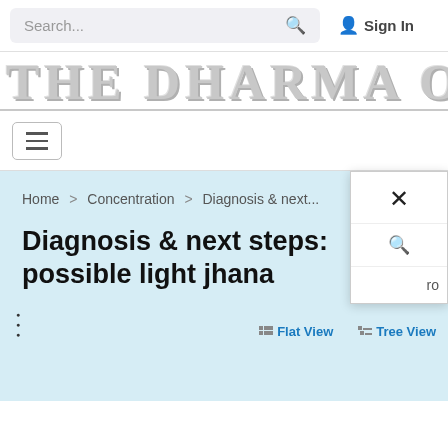Search...   Sign In
THE DHARMA OVER...
[Figure (screenshot): Hamburger menu button with three horizontal lines inside a rounded rectangle border]
[Figure (screenshot): Popup overlay with X close button, search icon, and partial text 'ro']
Home > Concentration > Diagnosis & next...
Diagnosis & next steps: possible light jhana
⋮   Flat View   Tree View